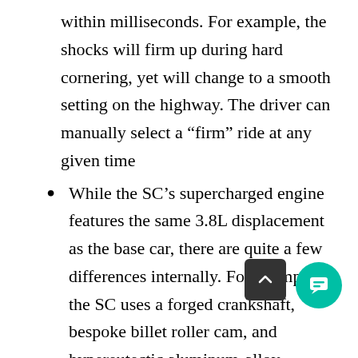within milliseconds. For example, the shocks will firm up during hard cornering, yet will change to a smooth setting on the highway. The driver can manually select a “firm” ride at any given time
While the SC’s supercharged engine features the same 3.8L displacement as the base car, there are quite a few differences internally. For example, the SC uses a forged crankshaft, bespoke billet roller cam, and hypereutectic aluminum-alloy pistons. The high silicone content of hypereutectic pistons increases its thermal stability, and therefore increases the piston’s resistance to knock damage. Engine computers of this time were still relatively primitive when it came to knock control, so forged aluminum (hypereutectic) pistons were commonly used